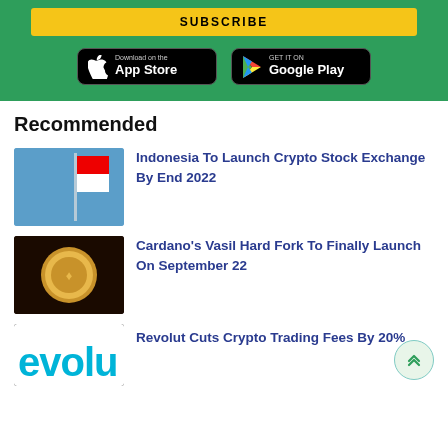[Figure (other): Subscribe button banner (yellow button on green background) with App Store and Google Play download buttons]
Recommended
[Figure (photo): Indonesian flag against blue sky]
Indonesia To Launch Crypto Stock Exchange By End 2022
[Figure (photo): Cardano gold coin on dark background]
Cardano's Vasil Hard Fork To Finally Launch On September 22
[Figure (logo): Revolut logo (partial, showing 'evolu' in teal/cyan)]
Revolut Cuts Crypto Trading Fees By 20%